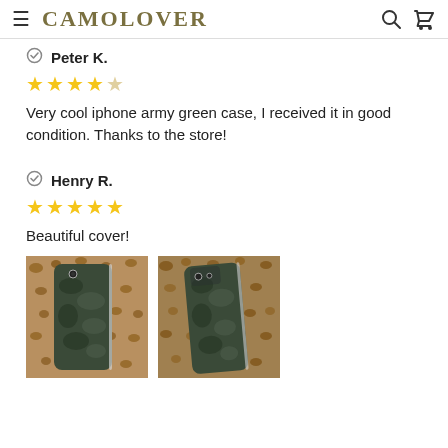CAMOLOVER
Peter K. ☑ ★★★★☆ Very cool iphone army green case, I received it in good condition. Thanks to the store!
Henry R. ☑ ★★★★★ Beautiful cover!
[Figure (photo): Two photos of a camo patterned iPhone case shown from the back, placed on a leopard print surface.]